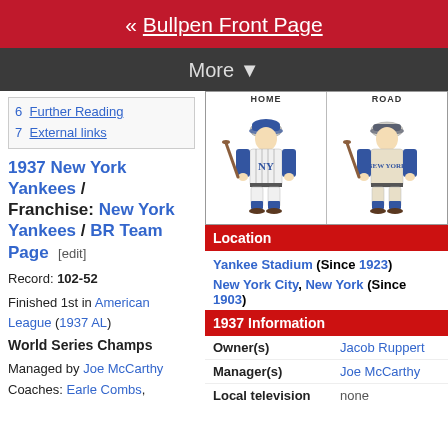« Bullpen Front Page
More ▼
6  Further Reading
7  External links
1937 New York Yankees / Franchise: New York Yankees / BR Team Page [edit]
Record: 102-52
Finished 1st in American League (1937 AL)
World Series Champs
Managed by Joe McCarthy
Coaches: Earle Combs,
[Figure (illustration): Two baseball uniform illustrations labeled HOME and ROAD showing 1937 New York Yankees uniforms]
Location
Yankee Stadium (Since 1923)
New York City, New York (Since 1903)
1937 Information
| Field | Value |
| --- | --- |
| Owner(s) | Jacob Ruppert |
| Manager(s) | Joe McCarthy |
| Local television | none |